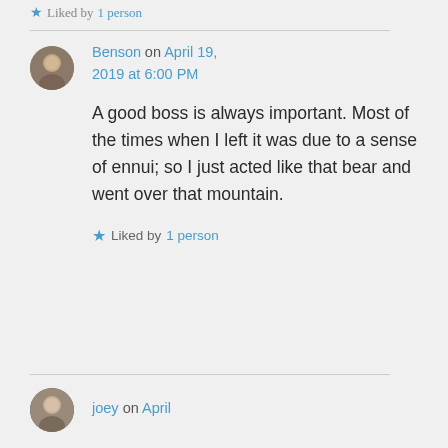Liked by 1 person
Benson on April 19, 2019 at 6:00 PM
A good boss is always important. Most of the times when I left it was due to a sense of ennui; so I just acted like that bear and went over that mountain.
Liked by 1 person
joey on April